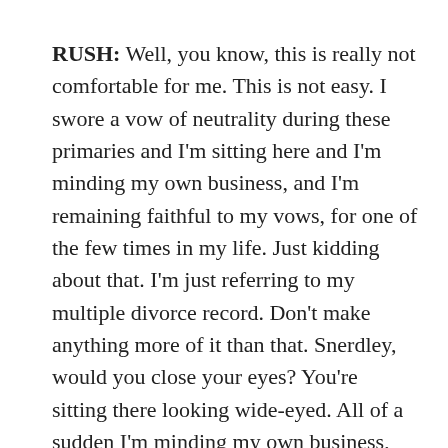RUSH: Well, you know, this is really not comfortable for me. This is not easy. I swore a vow of neutrality during these primaries and I'm sitting here and I'm minding my own business, and I'm remaining faithful to my vows, for one of the few times in my life. Just kidding about that. I'm just referring to my multiple divorce record. Don't make anything more of it than that. Snerdley, would you close your eyes? You're sitting there looking wide-eyed. All of a sudden I'm minding my own business, remaining faithful to my vows for what is a very common thing for me to do, to remain